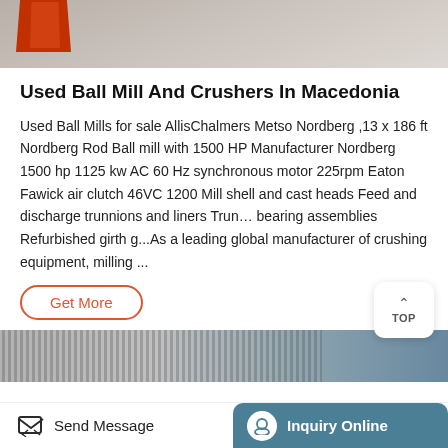[Figure (photo): Partial view of industrial equipment (ball mill or crusher), showing red metal frame component on a gray surface/floor, cropped at top of page.]
Used Ball Mill And Crushers In Macedonia
Used Ball Mills for sale AllisChalmers Metso Nordberg ,13 x 186 ft Nordberg Rod Ball mill with 1500 HP Manufacturer Nordberg 1500 hp 1125 kw AC 60 Hz synchronous motor 225rpm Eaton Fawick air clutch 46VC 1200 Mill shell and cast heads Feed and discharge trunnions and liners Trun… bearing assemblies Refurbished girth g...As a leading global manufacturer of crushing equipment, milling ...
Get More
[Figure (photo): Bottom strip showing industrial building or equipment with vertical striped corrugated metal surface.]
Send Message   Inquiry Online